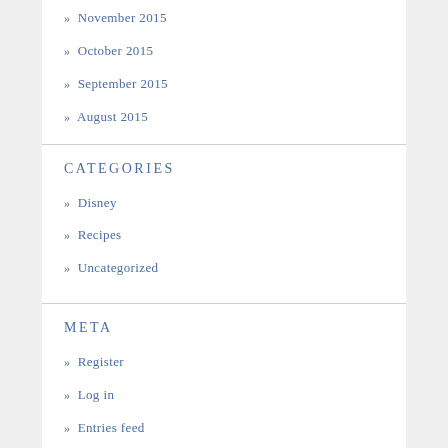» November 2015
» October 2015
» September 2015
» August 2015
CATEGORIES
» Disney
» Recipes
» Uncategorized
META
» Register
» Log in
» Entries feed